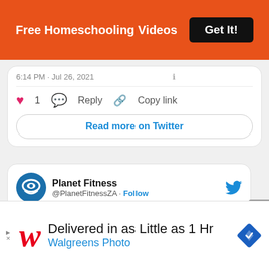Free Homeschooling Videos  Get It!
6:14 PM · Jul 26, 2021
❤ 1  Reply  Copy link
Read more on Twitter
Planet Fitness @PlanetFitnessZA · Follow
Join Planet Fitness this Feb and only pay in April 2022. 🌿🌿☝️. @discoveryvitality members join Planet Fitness and save up to 75% on gym fees
Delivered in as Little as 1 Hr  Walgreens Photo